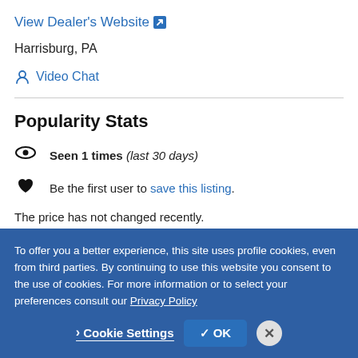View Dealer's Website ↗
Harrisburg, PA
👤 Video Chat
Popularity Stats
👁 Seen 1 times (last 30 days)
♥ Be the first user to save this listing.
The price has not changed recently.
To offer you a better experience, this site uses profile cookies, even from third parties. By continuing to use this website you consent to the use of cookies. For more information or to select your preferences consult our Privacy Policy